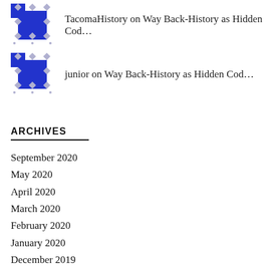[Figure (illustration): Blue and grey geometric quilt-pattern avatar icon for TacomaHistory user]
TacomaHistory on Way Back-History as Hidden Cod…
[Figure (illustration): Blue and grey geometric quilt-pattern avatar icon for junior user]
junior on Way Back-History as Hidden Cod…
ARCHIVES
September 2020
May 2020
April 2020
March 2020
February 2020
January 2020
December 2019
November 2019
October 2019
September 2019
August 2019
July 2019